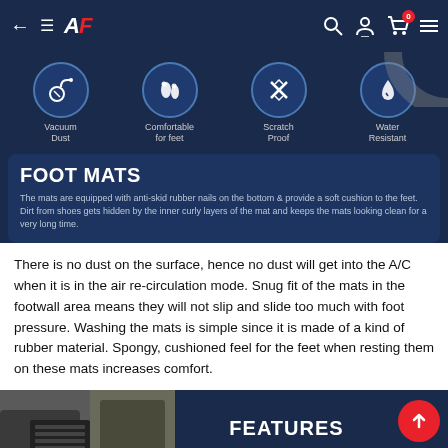AF — Navigation bar with back arrow, menu, logo, search, account, cart (0)
[Figure (infographic): Four feature icons on dark blue background: Vacuum Dust, Comfortable for feet, Scratch Proof, Water Resistant — each in a circular border]
FOOT MATS
The mats are equipped with anti-skid rubber nails on the bottom & provide a soft cushion to the feet.
Dirt from shoes gets hidden by the inner curly layers of the mat and keeps the mats looking clean for a very long time.
There is no dust on the surface, hence no dust will get into the A/C when it is in the air re-circulation mode. Snug fit of the mats in the footwall area means they will not slip and slide too much with foot pressure. Washing the mats is simple since it is made of a kind of rubber material. Spongy, cushioned feel for the feet when resting them on these mats increases comfort.
[Figure (photo): Features banner showing car foot mats photo on left, FEATURES text in center, colour sample arcs at bottom, red circular up-arrow button on right]
Buy Now